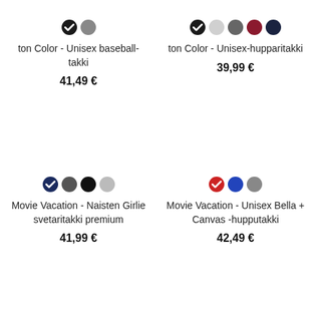[Figure (other): Two color swatches: black (checked) and gray]
ton Color - Unisex baseball-takki
41,49 €
[Figure (other): Five color swatches: black (checked), light gray, dark gray, dark red, dark navy]
ton Color - Unisex-hupparitakki
39,99 €
[Figure (other): Four color swatches: dark navy (checked), dark gray, black, light gray]
Movie Vacation - Naisten Girlie svetaritakki premium
41,99 €
[Figure (other): Three color swatches: red (checked), blue, gray]
Movie Vacation - Unisex Bella + Canvas -hupputakki
42,49 €